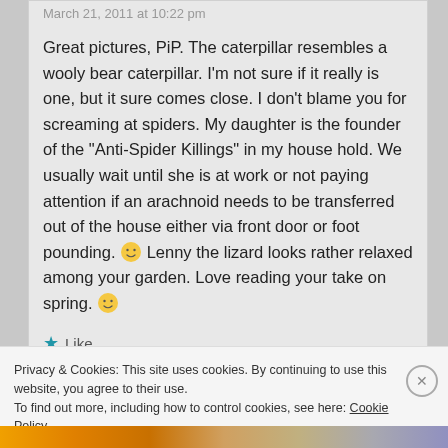March 21, 2011 at 10:22 pm
Great pictures, PiP. The caterpillar resembles a wooly bear caterpillar. I'm not sure if it really is one, but it sure comes close. I don't blame you for screaming at spiders. My daughter is the founder of the "Anti-Spider Killings" in my house hold. We usually wait until she is at work or not paying attention if an arachnoid needs to be transferred out of the house either via front door or foot pounding. 🙂 Lenny the lizard looks rather relaxed among your garden. Love reading your take on spring. 🙂
Like
Privacy & Cookies: This site uses cookies. By continuing to use this website, you agree to their use.
To find out more, including how to control cookies, see here: Cookie Policy
Close and accept